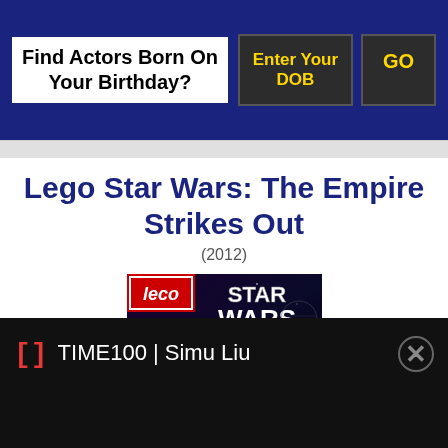Find Actors Born On Your Birthday?
Lego Star Wars: The Empire Strikes Out
(2012)
[Figure (photo): Movie cover art for Lego Star Wars: The Empire Strikes Out - showing LEGO Star Wars logo, Darth Vader minifigure labeled LIMITED EDITION, and a lightsaber]
TIME100 | Simu Liu